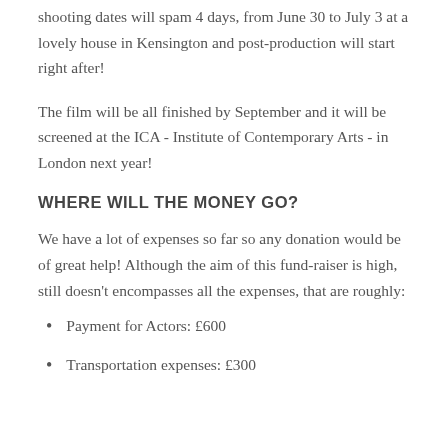shooting dates will spam 4 days, from June 30 to July 3 at a lovely house in Kensington and post-production will start right after!
The film will be all finished by September and it will be screened at the ICA - Institute of Contemporary Arts - in London next year!
WHERE WILL THE MONEY GO?
We have a lot of expenses so far so any donation would be of great help! Although the aim of this fund-raiser is high, still doesn't encompasses all the expenses, that are roughly:
Payment for Actors: £600
Transportation expenses: £300